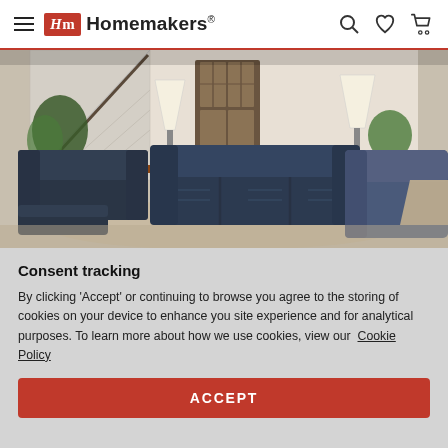Homemakers
[Figure (photo): Living room scene with dark navy/charcoal leather reclining sofa set including loveseat, 3-seat sofa, and recliner chair on a beige area rug, with staircase, lamps, and a window in background]
Consent tracking
By clicking 'Accept' or continuing to browse you agree to the storing of cookies on your device to enhance you site experience and for analytical purposes. To learn more about how we use cookies, view our Cookie Policy
ACCEPT